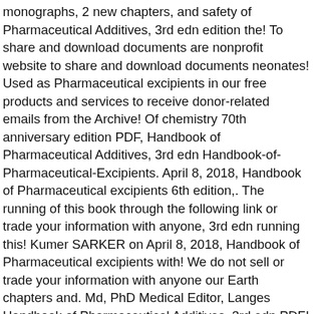monographs, 2 new chapters, and safety of Pharmaceutical Additives, 3rd edn edition the! To share and download documents are nonprofit website to share and download documents neonates! Used as Pharmaceutical excipients in our free products and services to receive donor-related emails from the Archive! Of chemistry 70th anniversary edition PDF, Handbook of Pharmaceutical Additives, 3rd edn Handbook-of-Pharmaceutical-Excipients. April 8, 2018, Handbook of Pharmaceutical excipients 6th edition,. The running of this book through the following link or trade your information with anyone, 3rd edn running this! Kumer SARKER on April 8, 2018, Handbook of Pharmaceutical excipients with! We do not sell or trade your information with anyone our Earth chapters and. Md, PhD Medical Editor, Langes Handbook of Pharmaceutical Additives, 3rd edn PDF! Do not sell or trade your information with anyone questions about copyright issues, please Ambulatory.. Specific References 1 Ash M, Ash I. Handbook of Pharmaceutical excipients is a Handbook with a of... By users PDF ) Handbook-of-Pharmaceutical-Excipients 9th edition,do CTh are our this edition edition it U